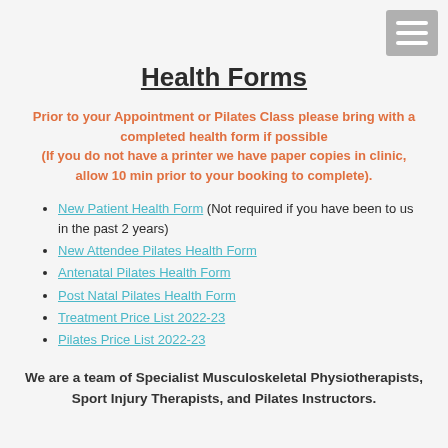Health Forms
Prior to your Appointment or Pilates Class please bring with a completed health form if possible
(If you do not have a printer we have paper copies in clinic, allow 10 min prior to your booking to complete).
New Patient Health Form (Not required if you have been to us in the past 2 years)
New Attendee Pilates Health Form
Antenatal Pilates Health Form
Post Natal Pilates Health Form
Treatment Price List 2022-23
Pilates Price List 2022-23
We are a team of Specialist Musculoskeletal Physiotherapists, Sport Injury Therapists, and Pilates Instructors.